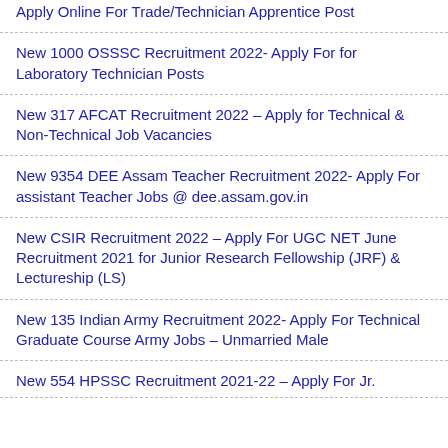Apply Online For Trade/Technician Apprentice Post
New 1000 OSSSC Recruitment 2022- Apply For for Laboratory Technician Posts
New 317 AFCAT Recruitment 2022 – Apply for Technical & Non-Technical Job Vacancies
New 9354 DEE Assam Teacher Recruitment 2022- Apply For assistant Teacher Jobs @ dee.assam.gov.in
New CSIR Recruitment 2022 – Apply For UGC NET June Recruitment 2021 for Junior Research Fellowship (JRF) & Lectureship (LS)
New 135 Indian Army Recruitment 2022- Apply For Technical Graduate Course Army Jobs – Unmarried Male
New 554 HPSSC Recruitment 2021-22 – Apply For Jr.